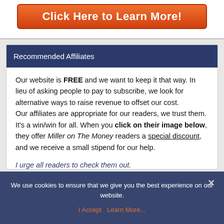[Figure (other): Orange gradient button with white bold text reading 'Click Here to Learn More!']
Recommended Affiliates
Our website is FREE and we want to keep it that way. In lieu of asking people to pay to subscribe, we look for alternative ways to raise revenue to offset our cost.
Our affiliates are appropriate for our readers, we trust them. It's a win/win for all. When you click on their image below, they offer Miller on The Money readers a special discount, and we receive a small stipend for our help.
I urge all readers to check them out.
We use cookies to ensure that we give you the best experience on our website.
I Accept   Learn More...